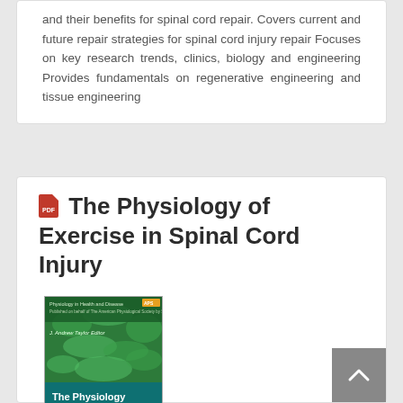and their benefits for spinal cord repair. Covers current and future repair strategies for spinal cord injury repair Focuses on key research trends, clinics, biology and engineering Provides fundamentals on regenerative engineering and tissue engineering
The Physiology of Exercise in Spinal Cord Injury
[Figure (photo): Book cover of 'The Physiology of Exercise in Spinal Cord Injury', Physiology in Health and Disease series, edited by J. Andrew Taylor, showing green microscopy imagery on the cover with teal/blue title text at the bottom.]